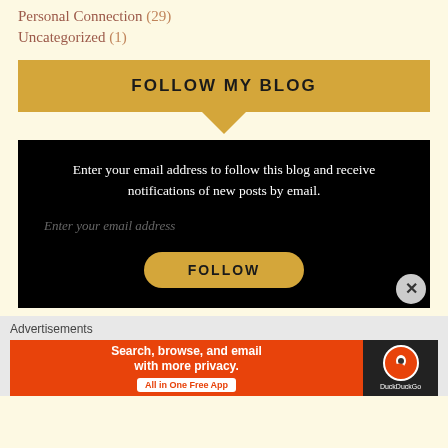Personal Connection (29)
Uncategorized (1)
FOLLOW MY BLOG
Enter your email address to follow this blog and receive notifications of new posts by email.
Enter your email address
FOLLOW
Advertisements
[Figure (infographic): DuckDuckGo advertisement banner: orange background with text 'Search, browse, and email with more privacy. All in One Free App' and DuckDuckGo logo on dark background on the right.]